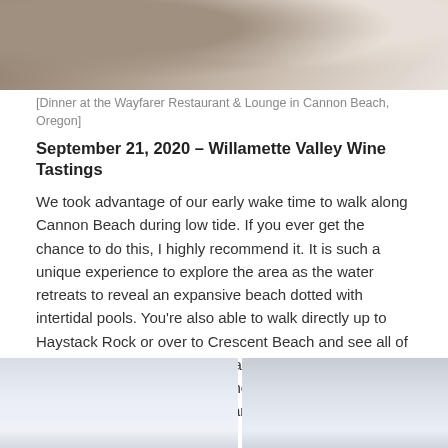[Figure (photo): Top portion of a photo showing dinner at the Wayfarer Restaurant & Lounge, showing silverware/plate details with warm metallic tones]
[Dinner at the Wayfarer Restaurant & Lounge in Cannon Beach, Oregon]
September 21, 2020 – Willamette Valley Wine Tastings
We took advantage of our early wake time to walk along Cannon Beach during low tide. If you ever get the chance to do this, I highly recommend it. It is such a unique experience to explore the area as the water retreats to reveal an expansive beach dotted with intertidal pools. You're also able to walk directly up to Haystack Rock or over to Crescent Beach and see all of the star fish and anemones that cling to the exposed rocks. We enjoyed exploring the near empty beach while we searched for sand dollars and enjoyed the incredible views.
[Figure (photo): Two side-by-side beach/sky photos at the bottom of the page, showing overcast sky and beach scenery in pale blue-grey tones]